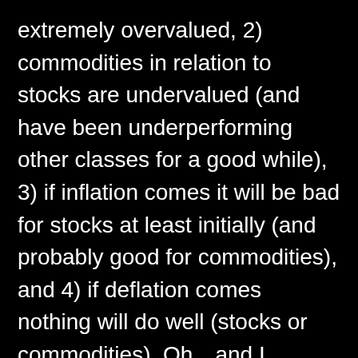extremely overvalued, 2) commodities in relation to stocks are undervalued (and have been underperforming other classes for a good while), 3) if inflation comes it will be bad for stocks at least initially (and probably good for commodities), and 4) if deflation comes nothing will do well (stocks or commodities). Oh…and I believe the world is a mess…did I mention